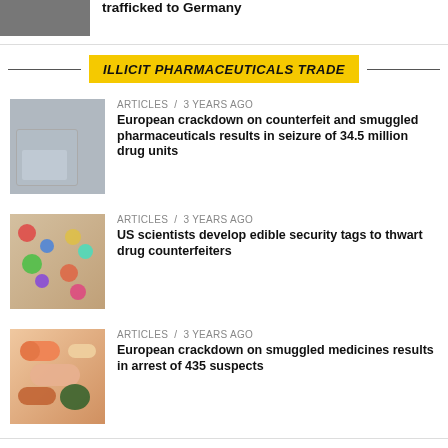[Figure (photo): Partial top article image showing a person, cropped]
trafficked to Germany
ILLICIT PHARMACEUTICALS TRADE
[Figure (photo): Bags of pills and pharmaceuticals]
ARTICLES / 3 years ago
European crackdown on counterfeit and smuggled pharmaceuticals results in seizure of 34.5 million drug units
[Figure (photo): Colorful assorted pills and capsules]
ARTICLES / 3 years ago
US scientists develop edible security tags to thwart drug counterfeiters
[Figure (photo): Orange and white capsules and pills]
ARTICLES / 3 years ago
European crackdown on smuggled medicines results in arrest of 435 suspects
We use cookies to ensure that we give you the best experience on our website.
OK   No   Read more